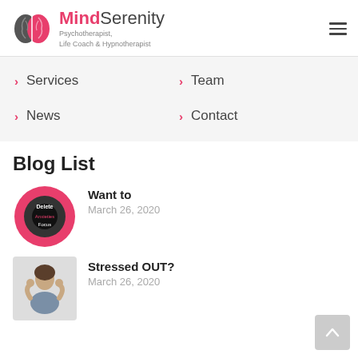[Figure (logo): MindSerenity logo: pink/grey brain icon with text 'MindSerenity Psychotherapist, Life Coach & Hypnotherapist']
> Services
> Team
> News
> Contact
Blog List
[Figure (photo): Circular pink/dark branded graphic with text 'Delete Anxieties Focus' - MindSerenity brand image]
Want to
March 26, 2020
[Figure (photo): Woman with hands on head looking stressed]
Stressed OUT?
March 26, 2020